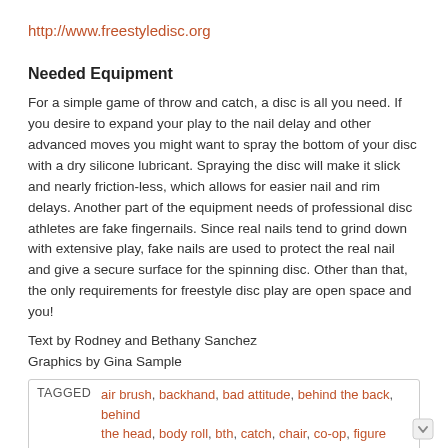http://www.freestyledisc.org
Needed Equipment
For a simple game of throw and catch, a disc is all you need. If you desire to expand your play to the nail delay and other advanced moves you might want to spray the bottom of your disc with a dry silicone lubricant. Spraying the disc will make it slick and nearly friction-less, which allows for easier nail and rim delays. Another part of the equipment needs of professional disc athletes are fake fingernails. Since real nails tend to grind down with extensive play, fake nails are used to protect the real nail and give a secure surface for the spinning disc. Other than that, the only requirements for freestyle disc play are open space and you!
Text by Rodney and Bethany Sanchez
Graphics by Gina Sample
TAGGED  air brush, backhand, bad attitude, behind the back, behind the head, body roll, bth, catch, chair, co-op, figure four